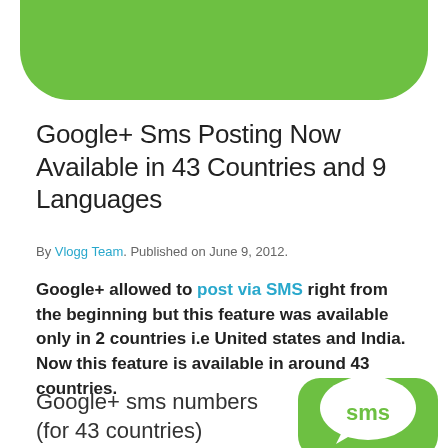[Figure (illustration): Green rounded rectangle shape at top of page, partially cropped]
Google+ Sms Posting Now Available in 43 Countries and 9 Languages
By Vlogg Team. Published on June 9, 2012.
Google+ allowed to post via SMS right from the beginning but this feature was available only in 2 countries i.e United states and India. Now this feature is available in around 43 countries.
Google+ sms numbers (for 43 countries)
[Figure (illustration): Green rounded square SMS app icon with white SMS speech bubble graphic and green 'sms' text, partially cropped at bottom right]